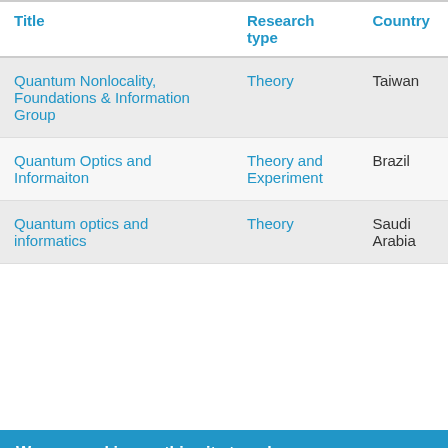| Title | Research type | Country |
| --- | --- | --- |
| Quantum Nonlocality, Foundations & Information Group | Theory | Taiwan |
| Quantum Optics and Informaiton | Theory and Experiment | Brazil |
| Quantum optics and informatics | Theory | Saudi Arabia |
We use cookies on this site to enhance your user experience
By clicking any link on this page you are giving your consent for us to set cookies.
No, give me more info
OK, I agree